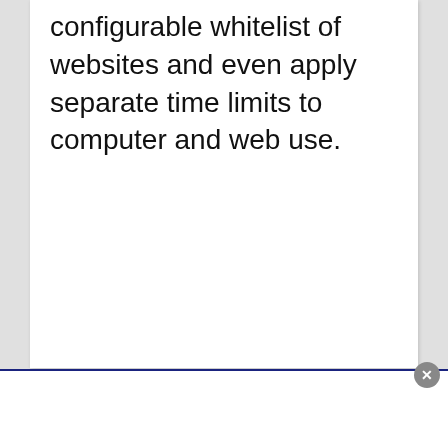configurable whitelist of websites and even apply separate time limits to computer and web use.
[Figure (screenshot): A popup/overlay bar at the bottom of the page with a close (×) button in the top-right corner, white background, blue top border.]